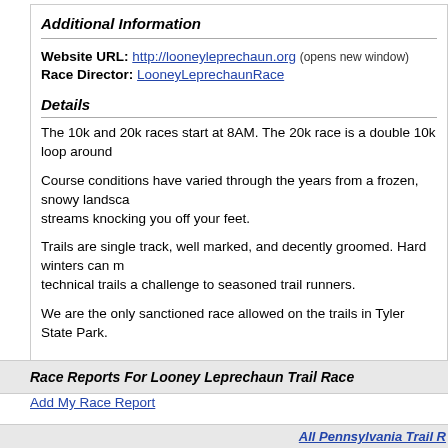Additional Information
Website URL: http://looneyleprechaun.org (opens new window)
Race Director: LooneyLeprechaunRace
Details
The 10k and 20k races start at 8AM. The 20k race is a double 10k loop around
Course conditions have varied through the years from a frozen, snowy landsca... streams knocking you off your feet.
Trails are single track, well marked, and decently groomed. Hard winters can m... technical trails a challenge to seasoned trail runners.
We are the only sanctioned race allowed on the trails in Tyler State Park.
Race Reports For Looney Leprechaun Trail Race
Add My Race Report
All Pennsylvania Trail R